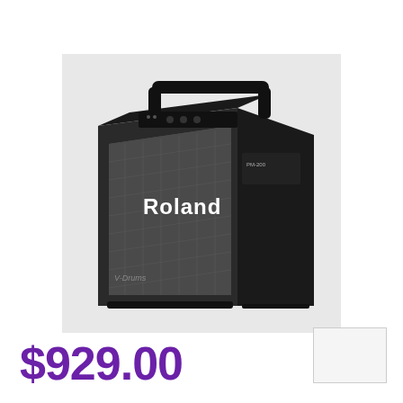[Figure (photo): Roland V-Drums personal monitor amplifier speaker, black wedge-shaped unit with metal grille featuring Roland branding and V-Drums logo, angled front face with top-mounted controls and carrying handle, photographed from a three-quarter angle on white background.]
$929.00
[Figure (photo): Small thumbnail image box with border, partially visible at bottom right corner of page.]